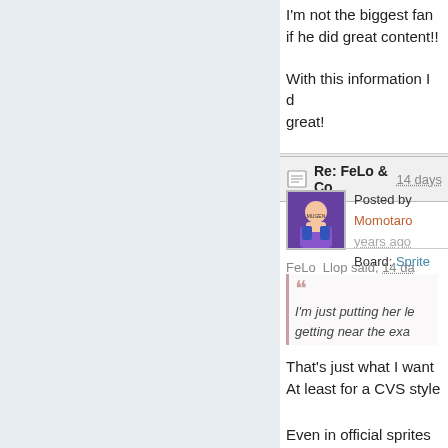I'm not the biggest fan... if he did great content!!
With this information I d... great!
Re: FeLo & Co  14 days...
Posted by Momotaro  years ago
Board: Sprite Project
FeLo_Llop said, 14 da...
I'm just putting her le... getting near the exa...
That's just what I want... At least for a CVS style...
Even in official sprites...